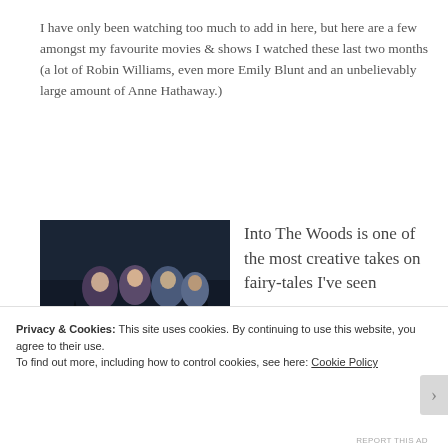I have only been watching too much to add in here, but here are a few amongst my favourite movies & shows I watched these last two months (a lot of Robin Williams, even more Emily Blunt and an unbelievably large amount of Anne Hathaway.)
[Figure (photo): Movie poster for Into The Woods (Disney), showing several characters in a dark forest setting]
Into The Woods is one of the most creative takes on fairy-tales I've seen
Privacy & Cookies: This site uses cookies. By continuing to use this website, you agree to their use.
To find out more, including how to control cookies, see here: Cookie Policy
Close and accept